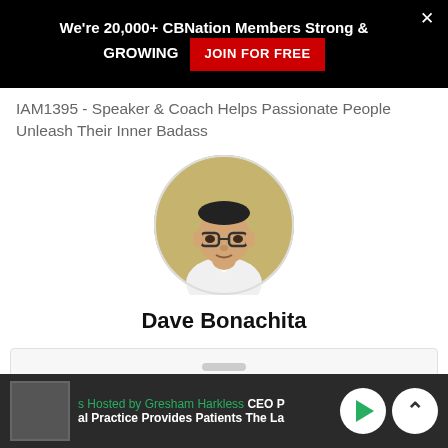We're 20,000+ CBNation Members Strong & GROWING  JOIN FOR FREE
IAM1395 - Speaker & Coach Helps Passionate People Unleash Their Inner Badass
[Figure (photo): Circular profile photo of Dave Bonachita, a man wearing glasses and a white shirt, against a sparkly gold background]
Dave Bonachita
s Hosted by Gresham Harkless  CEO P  al Practice Provides Patients The La